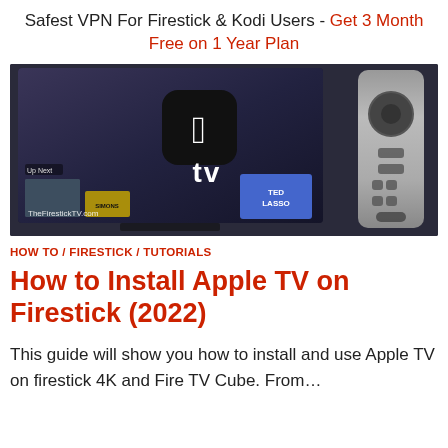Safest VPN For Firestick & Kodi Users - Get 3 Month Free on 1 Year Plan
[Figure (photo): Hero image showing Apple TV app logo on a smart TV screen next to an Amazon Fire TV Stick remote control. The TV displays the Apple TV interface with 'Up Next' row and Ted Lasso thumbnail. Watermark reads TheFirestickTV.com]
HOW TO / FIRESTICK / TUTORIALS
How to Install Apple TV on Firestick (2022)
This guide will show you how to install and use Apple TV on firestick 4K and Fire TV Cube. From…